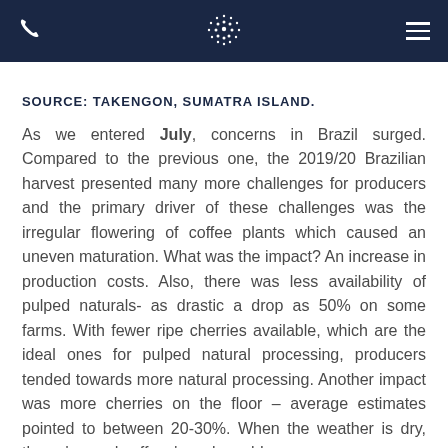[Navigation header with phone icon, circular dot logo, and hamburger menu]
SOURCE: TAKENGON, SUMATRA ISLAND.
As we entered July, concerns in Brazil surged. Compared to the previous one, the 2019/20 Brazilian harvest presented many more challenges for producers and the primary driver of these challenges was the irregular flowering of coffee plants which caused an uneven maturation. What was the impact? An increase in production costs. Also, there was less availability of pulped naturals- as drastic a drop as 50% on some farms. With fewer ripe cherries available, which are the ideal ones for pulped natural processing, producers tended towards more natural processing. Another impact was more cherries on the floor – average estimates pointed to between 20-30%. When the weather is dry, these 'ground coffees' can be sold